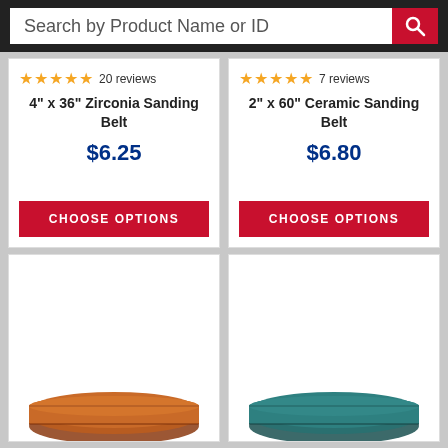Search by Product Name or ID
4" x 36" Zirconia Sanding Belt — ★★★★★ 20 reviews — $6.25
2" x 60" Ceramic Sanding Belt — ★★★★★ 7 reviews — $6.80
CHOOSE OPTIONS
CHOOSE OPTIONS
[Figure (photo): Orange/brown zirconia sanding belt partially visible at bottom of page]
[Figure (photo): Teal/green ceramic sanding belt partially visible at bottom of page]